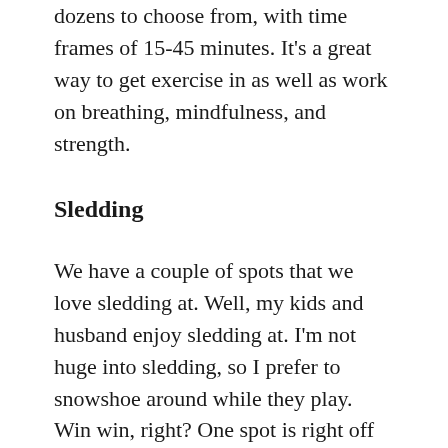Cosmic Kids several times a week and she has dozens to choose from, with time frames of 15-45 minutes. It's a great way to get exercise in as well as work on breathing, mindfulness, and strength.
Sledding
We have a couple of spots that we love sledding at. Well, my kids and husband enjoy sledding at. I'm not huge into sledding, so I prefer to snowshoe around while they play. Win win, right? One spot is right off of Big Cottonwood Canyon Road, near the Jordan Pines campground. We also like sledding at the Stewart Falls trailhead. There are decent hills